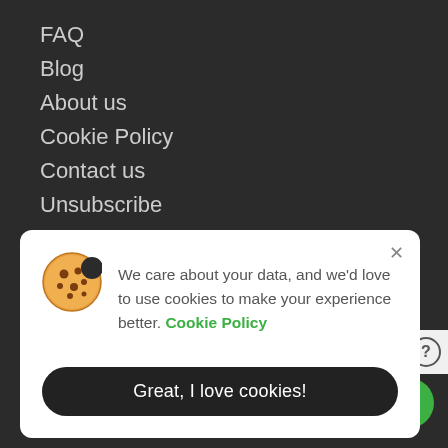FAQ
Blog
About us
Cookie Policy
Contact us
Unsubscribe
How To Use Our Promo Codes
Recently Added Stores
Arfacemask COM
Erborian EU
[Figure (other): Cookie consent dialog with cookie emoji icon, text about data and cookies, green Cookie Policy link, close button, and a dark rounded button labeled Great, I love cookies!]